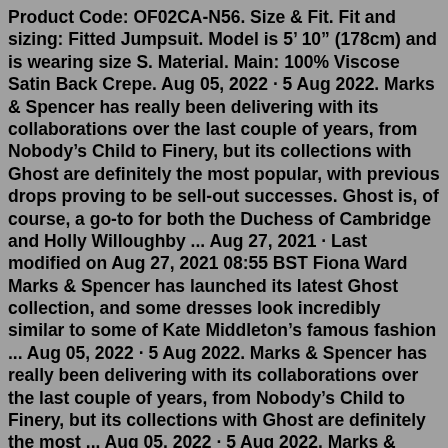Product Code: OF02CA-N56. Size & Fit. Fit and sizing: Fitted Jumpsuit. Model is 5' 10" (178cm) and is wearing size S. Material. Main: 100% Viscose Satin Back Crepe. Aug 05, 2022 · 5 Aug 2022. Marks & Spencer has really been delivering with its collaborations over the last couple of years, from Nobody's Child to Finery, but its collections with Ghost are definitely the most popular, with previous drops proving to be sell-out successes. Ghost is, of course, a go-to for both the Duchess of Cambridge and Holly Willoughby ... Aug 27, 2021 · Last modified on Aug 27, 2021 08:55 BST Fiona Ward Marks & Spencer has launched its latest Ghost collection, and some dresses look incredibly similar to some of Kate Middleton's famous fashion ... Aug 05, 2022 · 5 Aug 2022. Marks & Spencer has really been delivering with its collaborations over the last couple of years, from Nobody's Child to Finery, but its collections with Ghost are definitely the most ... Aug 05, 2022 · 5 Aug 2022. Marks & Spencer has really been delivering with its collaborations over the last couple of